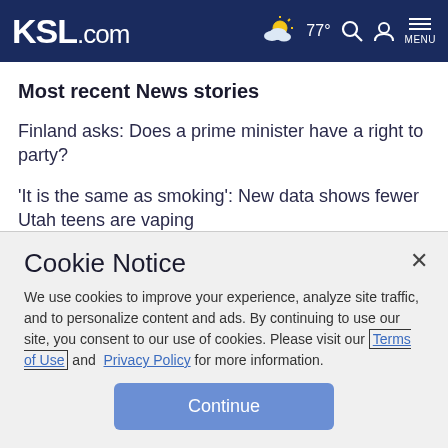KSL.com — 77° weather, search, account, menu
Most recent News stories
Finland asks: Does a prime minister have a right to party?
'It is the same as smoking': New data shows fewer Utah teens are vaping
'Widespread flash flooding' threatens nearly 10 million people
Cookie Notice
We use cookies to improve your experience, analyze site traffic, and to personalize content and ads. By continuing to use our site, you consent to our use of cookies. Please visit our Terms of Use and Privacy Policy for more information.
Continue